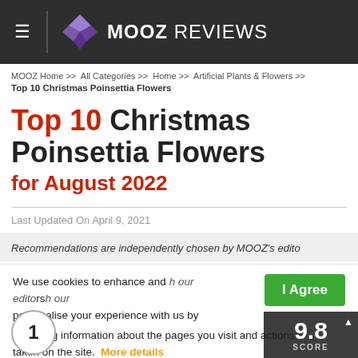MOOZ REVIEWS
MOOZ Home >> All Categories >> Home >> Artificial Plants & Flowers >>
Top 10 Christmas Poinsettia Flowers
Top 10 Christmas Poinsettia Flowers for August 2022
Last Updated On April 9, 2021
Recommendations are independently chosen by MOOZ's editors. We purchase every product we review with our own funds — we never accept anything from product manufacturers. We earn affiliate commissions from some of the links on this page, which help support our testing. When you buy through links on our site, we may earn an affiliate commission at no extra cost to you. This doesn't affect our editorial independence. Read more... We use cookies to enhance and personalise your experience with us by collecting information about the pages you visit and actions taken on the site. More details
9.8 SCORE